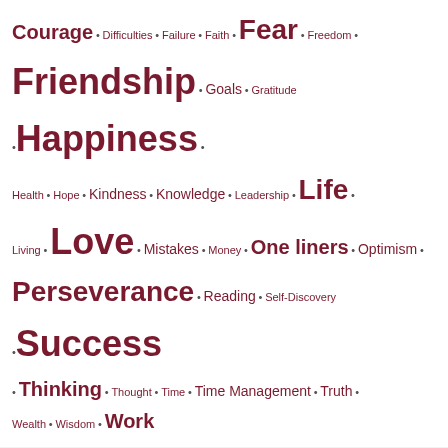Courage • Difficulties • Failure • Faith • Fear • Freedom • Friendship • Goals • Gratitude • Happiness • Health • Hope • Kindness • Knowledge • Leadership • Life • Living • Love • Mistakes • Money • One liners • Optimism • Perseverance • Reading • Self-Discovery • Success • Thinking • Thought • Time • Time Management • Truth • Wealth • Wisdom • Work
Search
Search this website ...
Copyright © 2022 · Curated by RightAttitudes.com